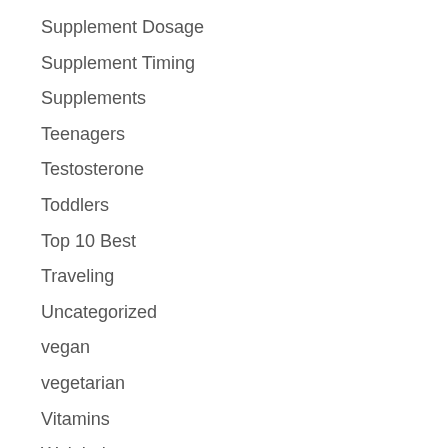Supplement Dosage
Supplement Timing
Supplements
Teenagers
Testosterone
Toddlers
Top 10 Best
Traveling
Uncategorized
vegan
vegetarian
Vitamins
Weight loss
When to Take
Women's Health